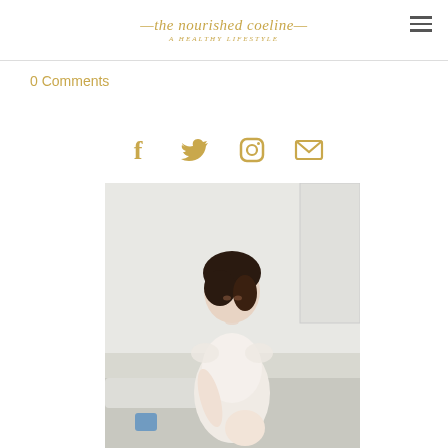the nourished coeline — a healthy lifestyle
0 Comments
[Figure (infographic): Social media icons: Facebook, Twitter, Instagram, Email — rendered in gold/tan color]
[Figure (photo): A young woman in a white lace dress sitting on a bed, looking down, with dark hair partially up, in a softly lit room]